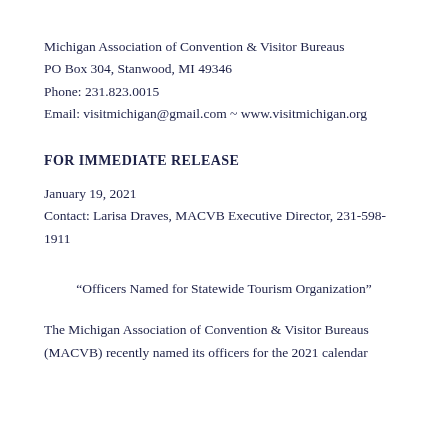Michigan Association of Convention & Visitor Bureaus
PO Box 304, Stanwood, MI 49346
Phone: 231.823.0015
Email: visitmichigan@gmail.com ~ www.visitmichigan.org
FOR IMMEDIATE RELEASE
January 19, 2021
Contact: Larisa Draves, MACVB Executive Director, 231-598-1911
“Officers Named for Statewide Tourism Organization”
The Michigan Association of Convention & Visitor Bureaus (MACVB) recently named its officers for the 2021 calendar